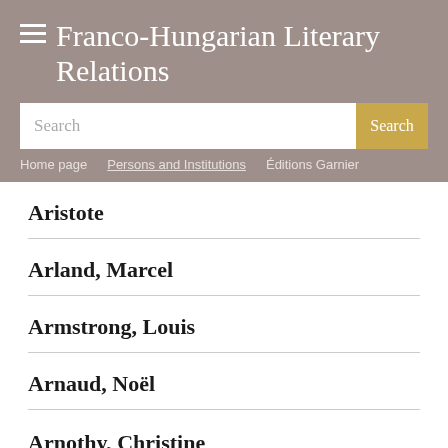Franco-Hungarian Literary Relations
Search | Home page | Persons and Institutions | Éditions Garnier
Aristote
Arland, Marcel
Armstrong, Louis
Arnaud, Noël
Arnothy, Christine